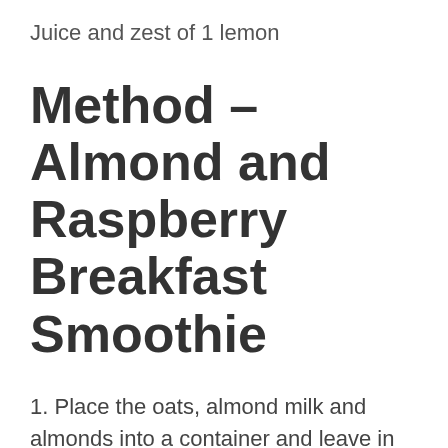Juice and zest of 1 lemon
Method – Almond and Raspberry Breakfast Smoothie
1. Place the oats, almond milk and almonds into a container and leave in the fridge for a minimum of 40 minutes – preferably overnight
2. Using an immersion blender whizz the oats almond milk and all the other